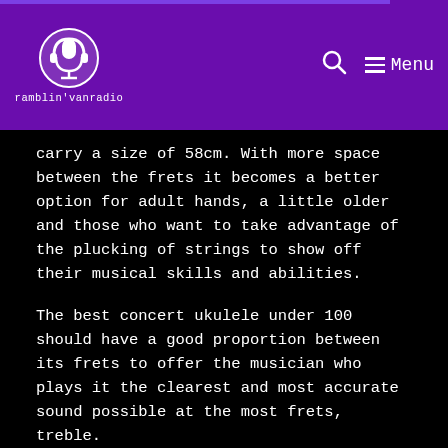ramblin'vanradio
carry a size of 58cm. With more space between the frets it becomes a better option for adult hands, a little older and those who want to take advantage of the plucking of strings to show off their musical skills and abilities.
The best concert ukulele under 100 should have a good proportion between its frets to offer the musician who plays it the clearest and most accurate sound possible at the most frets, treble.
Here are some offers on concert ukuleles under 100: